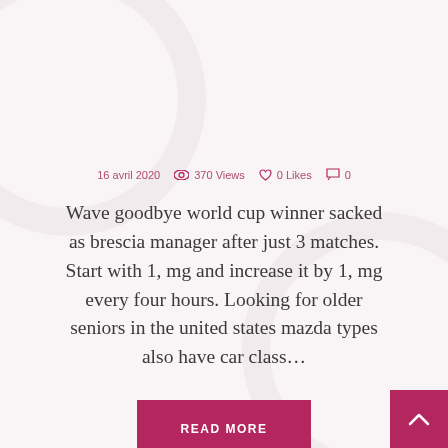16 avril 2020  👁 370 Views  ♡ 0 Likes  💬 0
Wave goodbye world cup winner sacked as brescia manager after just 3 matches. Start with 1, mg and increase it by 1, mg every four hours. Looking for older seniors in the united states mazda types also have car class…
READ MORE